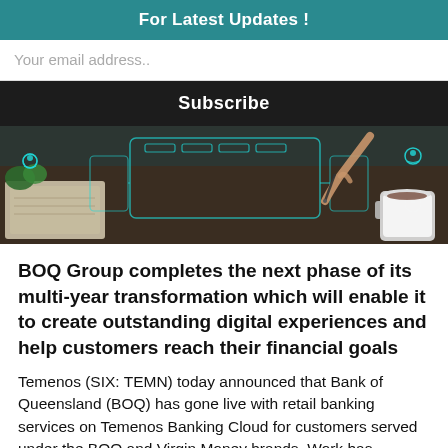For Latest Updates !
Your email address..
Subscribe
[Figure (photo): Person interacting with a glowing digital interface on a desk with a book and coffee cup, teal neon UI overlays]
BOQ Group completes the next phase of its multi-year transformation which will enable it to create outstanding digital experiences and help customers reach their financial goals
Temenos (SIX: TEMN) today announced that Bank of Queensland (BOQ) has gone live with retail banking services on Temenos Banking Cloud for customers served under the BOQ and Virgin Money brands. Work has